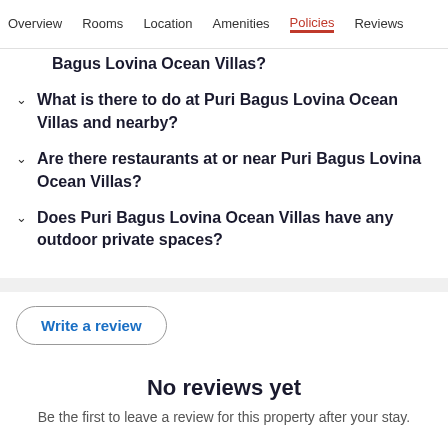Overview  Rooms  Location  Amenities  Policies  Reviews
Bagus Lovina Ocean Villas?
What is there to do at Puri Bagus Lovina Ocean Villas and nearby?
Are there restaurants at or near Puri Bagus Lovina Ocean Villas?
Does Puri Bagus Lovina Ocean Villas have any outdoor private spaces?
Write a review
No reviews yet
Be the first to leave a review for this property after your stay.